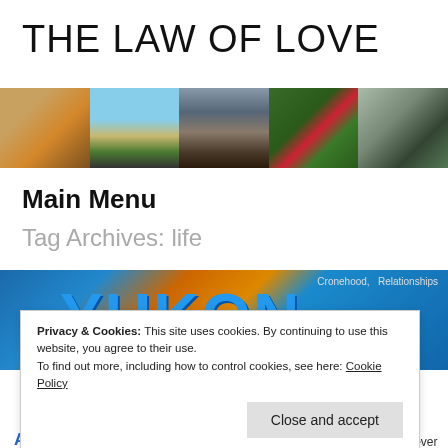THE LAW OF LOVE
[Figure (photo): Banner strip of five photos: person with hat, beach with palm trees, volcanic landscape with person, tropical flowers, woman against wall]
Main Menu
Tag Archives: life
[Figure (photo): Photo of Yukon sign in blue letters on orange/brown background with Cronehood, Relationships tags]
Privacy & Cookies: This site uses cookies. By continuing to use this website, you agree to their use.
To find out more, including how to control cookies, see here: Cookie Policy
Close and accept
A WORLD
Mia never flagged, never lost courage, never